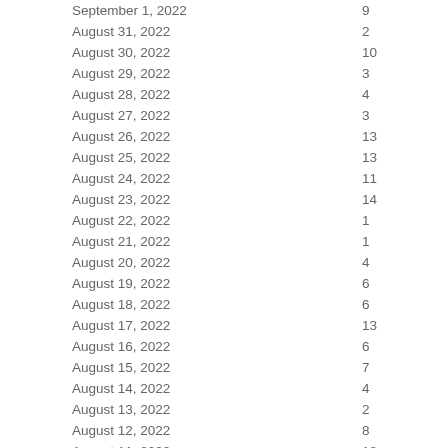| Date | Value |
| --- | --- |
| September 1, 2022 | 9 |
| August 31, 2022 | 2 |
| August 30, 2022 | 10 |
| August 29, 2022 | 3 |
| August 28, 2022 | 4 |
| August 27, 2022 | 3 |
| August 26, 2022 | 13 |
| August 25, 2022 | 13 |
| August 24, 2022 | 11 |
| August 23, 2022 | 14 |
| August 22, 2022 | 1 |
| August 21, 2022 | 1 |
| August 20, 2022 | 4 |
| August 19, 2022 | 6 |
| August 18, 2022 | 6 |
| August 17, 2022 | 13 |
| August 16, 2022 | 6 |
| August 15, 2022 | 7 |
| August 14, 2022 | 4 |
| August 13, 2022 | 2 |
| August 12, 2022 | 8 |
| August 11, 2022 | 18 |
| August 10, 2022 | 8 |